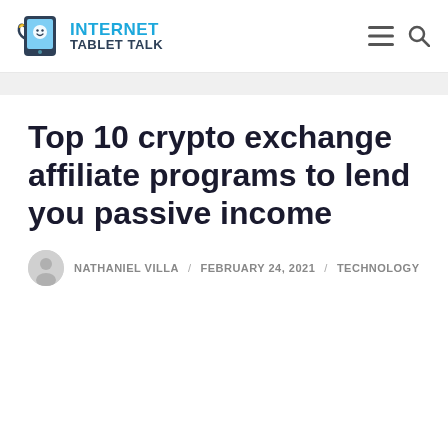INTERNET TABLET TALK
Top 10 crypto exchange affiliate programs to lend you passive income
NATHANIEL VILLA / FEBRUARY 24, 2021 / TECHNOLOGY